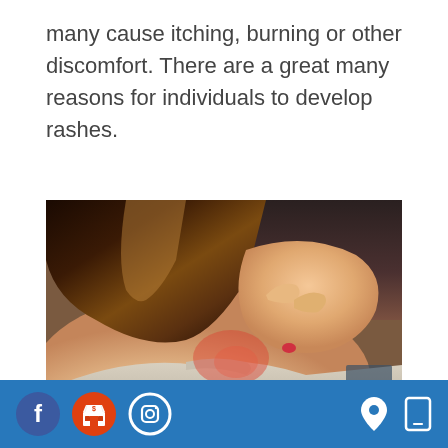many cause itching, burning or other discomfort. There are a great many reasons for individuals to develop rashes.
[Figure (photo): A woman scratching her back/shoulder area, showing a red rash on the skin. She is wearing a light gray tank top and has dark brown hair.]
Footer bar with social media icons (Facebook, shop/store, Instagram) on the left and location/mobile icons on the right